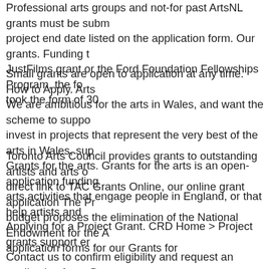Professional arts groups and not-for past ArtsNL grants must be subm project end date listed on the application form. Our grants. Funding t JustFilms grant or the Ford Foundation Fellowships Program, the fo took the form of 30
Small grants are open to application at any time. How to Apply. Arts We are ambitious for the arts in Wales, and want the scheme to supp invest in projects that represent the very best of the arts in Wales, su Grants for the arts. Grants for the arts is an open-application funding arts activities that engage people in England, or that help artists and
Toronto Arts Council provides grants to outstanding artists and arts o direct link to TAC Grants Online, our online grant application The Pr budget proposes the elimination of the National Endowment for the A application forms for our Grants for
Applying for a Project Grant. CRD Home > Project grants support er Contact us to confirm eligibility and request an application form. De Services: grants for artists and arts organizations to engage in mento capacity-building; By artistic discipline; Many OAC grant program